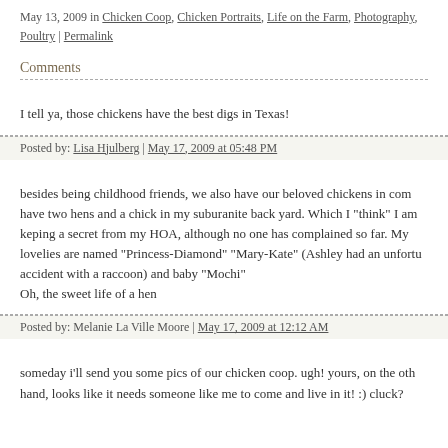May 13, 2009 in Chicken Coop, Chicken Portraits, Life on the Farm, Photography, Poultry | Permalink
Comments
I tell ya, those chickens have the best digs in Texas!
Posted by: Lisa Hjulberg | May 17, 2009 at 05:48 PM
besides being childhood friends, we also have our beloved chickens in com... have two hens and a chick in my suburanite back yard. Which I "think" I am keping a secret from my HOA, although no one has complained so far. My lovelies are named "Princess-Diamond" "Mary-Kate" (Ashley had an unfortu... accident with a raccoon) and baby "Mochi"
Oh, the sweet life of a hen
Posted by: Melanie La Ville Moore | May 17, 2009 at 12:12 AM
someday i'll send you some pics of our chicken coop. ugh! yours, on the oth... hand, looks like it needs someone like me to come and live in it! :) cluck?